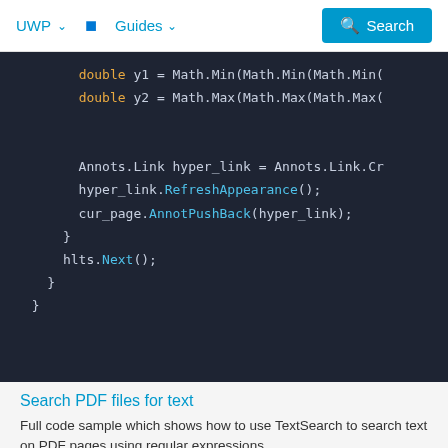UWP  Guides  Search
[Figure (screenshot): Dark-themed code editor screenshot showing C# code with double y1 = Math.Min(Math.Min(Math.Min(..., double y2 = Math.Max(Math.Max(Math.Max(..., Annots.Link hyper_link = Annots.Link.Cr..., hyper_link.RefreshAppearance();, cur_page.AnnotPushBack(hyper_link);, }, hlts.Next();, }, }]
Search PDF files for text
Full code sample which shows how to use TextSearch to search text on PDF pages using regular expressions.